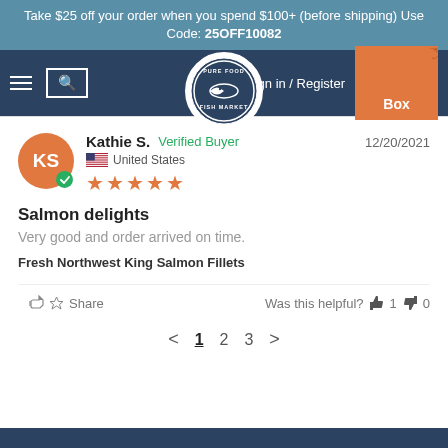Take $25 off your order when you spend $100+ (before shipping) Use Code: 25OFF10082
[Figure (logo): Pure Food Fish Market logo - circular badge with fish and text]
Kathie S.  Verified Buyer  12/20/2021  United States  ★★★★★
Salmon delights
Very good and order arrived on time.
Fresh Northwest King Salmon Fillets
Share  Was this helpful?  👍 1  👎 0
< 1 2 3 >